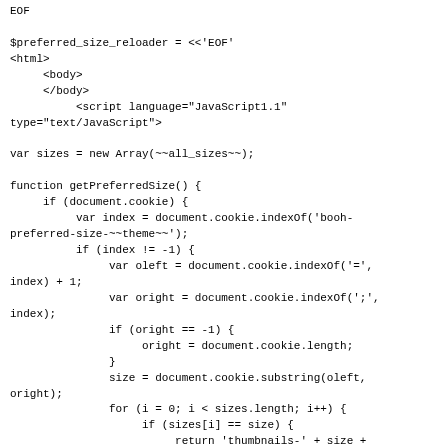EOF

$preferred_size_reloader = <<'EOF'
<html>
     <body>
     </body>
          <script language="JavaScript1.1"
type="text/JavaScript">

var sizes = new Array(~~all_sizes~~);

function getPreferredSize() {
     if (document.cookie) {
          var index = document.cookie.indexOf('booh-
preferred-size-~~theme~~');
          if (index != -1) {
               var oleft = document.cookie.indexOf('=',
index) + 1;
               var oright = document.cookie.indexOf(';',
index);
               if (oright == -1) {
                    oright = document.cookie.length;
               }
               size = document.cookie.substring(oleft,
oright);
               for (i = 0; i < sizes.length; i++) {
                    if (sizes[i] == size) {
                         return 'thumbnails-' + size +
'-0~~htmlsuffix~~';
                    }